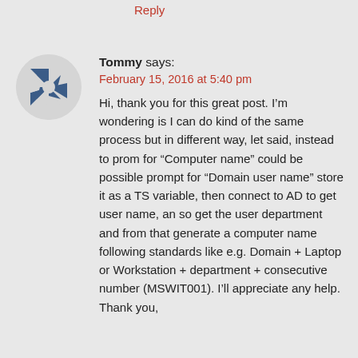Reply
[Figure (illustration): Circular avatar with a star/pinwheel logo in dark blue and white on a light gray background]
Tommy says:
February 15, 2016 at 5:40 pm
Hi, thank you for this great post. I'm wondering is I can do kind of the same process but in different way, let said, instead to prom for “Computer name” could be possible prompt for “Domain user name” store it as a TS variable, then connect to AD to get user name, an so get the user department and from that generate a computer name following standards like e.g. Domain + Laptop or Workstation + department + consecutive number (MSWIT001). I’ll appreciate any help. Thank you,